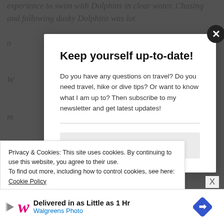experience to swim with Dolphins in clear water. Chasing and following dusky Dolphins was lot of...
Keep yourself up-to-date!
Do you have any questions on travel? Do you need travel, hike or dive tips? Or want to know what I am up to? Then subscribe to my newsletter and get latest updates!
Your email address
Privacy & Cookies: This site uses cookies. By continuing to use this website, you agree to their use.
To find out more, including how to control cookies, see here: Cookie Policy
[Figure (screenshot): Advertisement banner for Walgreens Photo: 'Delivered in as Little as 1 Hr' with Walgreens logo and delivery icon]